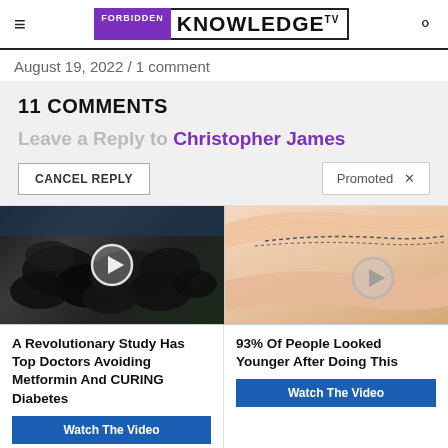FORBIDDEN KNOWLEDGE TV
August 19, 2022 / 1 comment
11 COMMENTS
Leave a Reply to Christopher James
CANCEL REPLY
Promoted ×
[Figure (photo): Advertisement: Two promotional video thumbnails. Left: dark image of what appears to be dried fruits/raisins. Right: medical illustration of arm liposuction procedure.]
A Revolutionary Study Has Top Doctors Avoiding Metformin And CURING Diabetes
Watch The Video
93% Of People Looked Younger After Doing This
Watch The Video